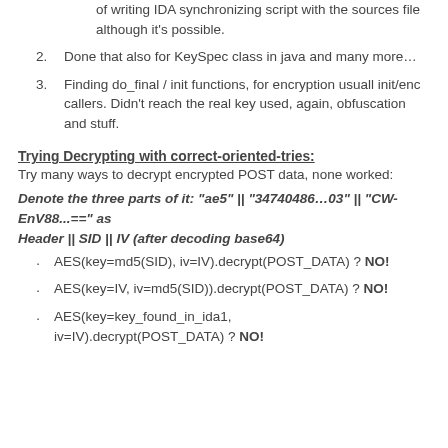of writing IDA synchronizing script with the sources file although it's possible.
2. Done that also for KeySpec class in java and many more…
3. Finding do_final / init functions, for encryption usuall init/enc callers. Didn't reach the real key used, again, obfuscation and stuff.
Trying Decrypting with correct-oriented-tries:
Try many ways to decrypt encrypted POST data, none worked:
Denote the three parts of it: "ae5" || "34740486…03" || "CW-EnV88...==" as
Header || SID || IV (after decoding base64)
AES(key=md5(SID), iv=IV).decrypt(POST_DATA) ? NO!
AES(key=IV, iv=md5(SID)).decrypt(POST_DATA) ? NO!
AES(key=key_found_in_ida1, iv=IV).decrypt(POST_DATA) ? NO!